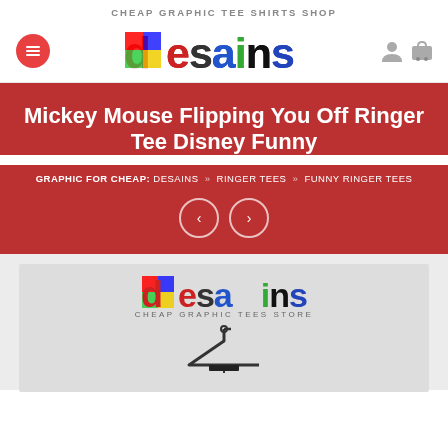CHEAP GRAPHIC TEE SHIRTS SHOP
[Figure (logo): Desains colorful logo with hamburger menu, user and cart icons]
Mickey Mouse Flipping You Off Ringer Tee Disney Funny
GRAPHIC FOR CHEAP: DESAINS » RINGER TEES » FUNNY RINGER TEES
[Figure (screenshot): Desains cheap graphic tees store logo with shirt on hanger below]